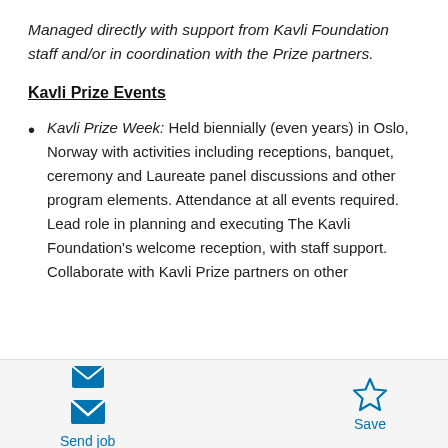Managed directly with support from Kavli Foundation staff and/or in coordination with the Prize partners.
Kavli Prize Events
Kavli Prize Week: Held biennially (even years) in Oslo, Norway with activities including receptions, banquet, ceremony and Laureate panel discussions and other program elements. Attendance at all events required. Lead role in planning and executing The Kavli Foundation's welcome reception, with staff support. Collaborate with Kavli Prize partners on other
Send job | Save